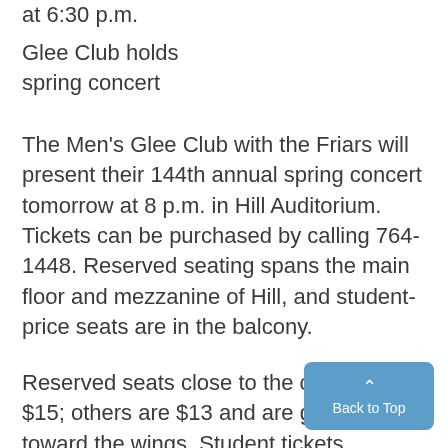at 6:30 p.m.
Glee Club holds spring concert
The Men's Glee Club with the Friars will present their 144th annual spring concert tomorrow at 8 p.m. in Hill Auditorium. Tickets can be purchased by calling 764-1448. Reserved seating spans the main floor and mezzanine of Hill, and student-price seats are in the balcony.
Reserved seats close to the center are $15; others are $13 and are generally toward the wings. Student tickets